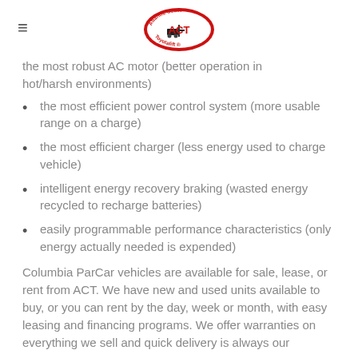Atlantic Coast ACT Toyotalift
the most robust AC motor (better operation in hot/harsh environments)
the most efficient power control system (more usable range on a charge)
the most efficient charger (less energy used to charge vehicle)
intelligent energy recovery braking (wasted energy recycled to recharge batteries)
easily programmable performance characteristics (only energy actually needed is expended)
Columbia ParCar vehicles are available for sale, lease, or rent from ACT. We have new and used units available to buy, or you can rent by the day, week or month, with easy leasing and financing programs. We offer warranties on everything we sell and quick delivery is always our...